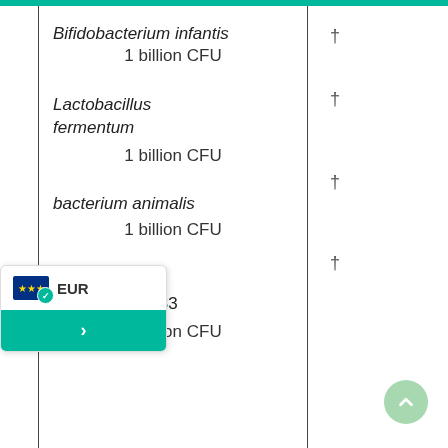| Ingredient | Amount | Daily Value |
| --- | --- | --- |
| Bifidobacterium infantis | 1 billion CFU | † |
| Lactobacillus fermentum | 1 billion CFU | † |
| Bifidobacterium animalis | 1 billion CFU | † |
| Lactobacillus fermentum Lf-33 | 1 billion CFU | † |